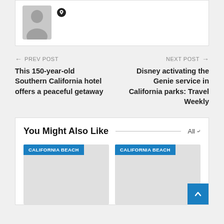[Figure (illustration): User avatar placeholder with gray silhouette icon and a small heart/location pin icon beside it]
← PREV POST
This 150-year-old Southern California hotel offers a peaceful getaway
NEXT POST →
Disney activating the Genie service in California parks: Travel Weekly
You Might Also Like
[Figure (illustration): CALIFORNIA BEACH category card thumbnail placeholder (gray)]
[Figure (illustration): CALIFORNIA BEACH category card thumbnail placeholder (gray)]